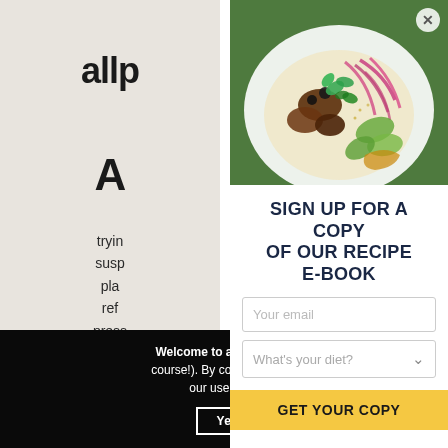allp
A
tryin
susp
pla
ref
press
stude
hovv
Welcome to allplants. W course!). By continuing to b our use of co
[Figure (photo): A white bowl with a colorful dish: braised meat, pickled red onions, sliced avocado, fresh herbs (mint, parsley), black olives on a green background]
SIGN UP FOR A COPY OF OUR RECIPE E-BOOK
Your email
What's your diet?
GET YOUR COPY
Ye